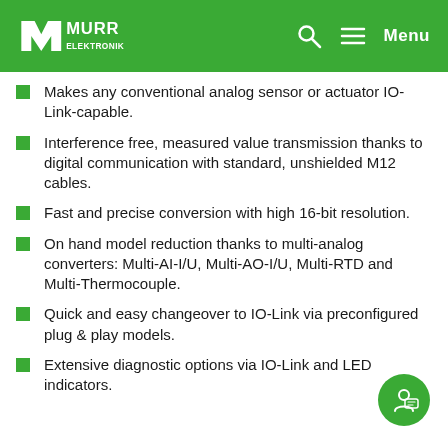MURR ELEKTRONIK — Menu
Makes any conventional analog sensor or actuator IO-Link-capable.
Interference free, measured value transmission thanks to digital communication with standard, unshielded M12 cables.
Fast and precise conversion with high 16-bit resolution.
On hand model reduction thanks to multi-analog converters: Multi-AI-I/U, Multi-AO-I/U, Multi-RTD and Multi-Thermocouple.
Quick and easy changeover to IO-Link via preconfigured plug & play models.
Extensive diagnostic options via IO-Link and LED indicators.